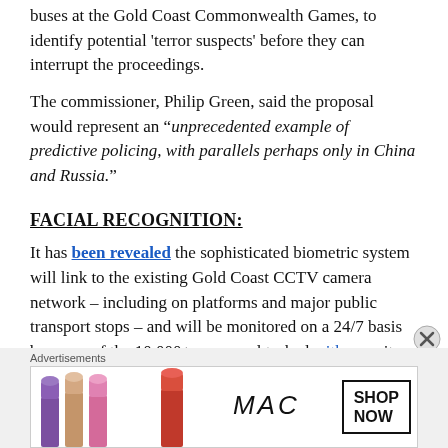buses at the Gold Coast Commonwealth Games, to identify potential 'terror suspects' before they can interrupt the proceedings.
The commissioner, Philip Green, said the proposal would represent an “unprecedented example of predictive policing, with parallels perhaps only in China and Russia.”
FACIAL RECOGNITION:
It has been revealed the sophisticated biometric system will link to the existing Gold Coast CCTV camera network – including on platforms and major public transport stops – and will be monitored on a 24/7 basis by some of the 10,000+ personnel tasked with security of the Commonwealth Games.
Advertisements
[Figure (photo): MAC Cosmetics advertisement showing lipsticks in purple, peach, pink colors with MAC logo and SHOP NOW button]